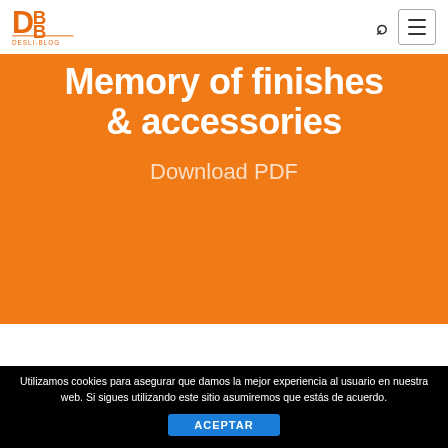DESLI-BLOG logo and navigation with search and menu icons
Memory of finishes & accessories
Download PDF
Utilizamos cookies para asegurar que damos la mejor experiencia al usuario en nuestra web. Si sigues utilizando este sitio asumiremos que estás de acuerdo.
ACEPTAR